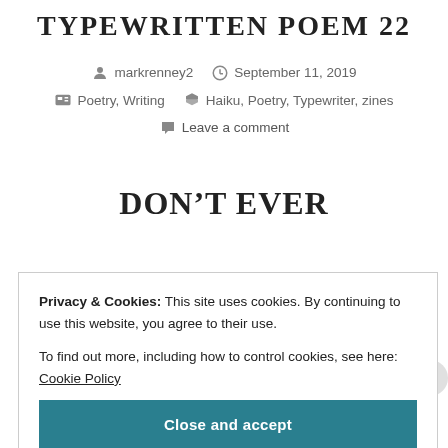TYPEWRITTEN POEM 22
markrenney2   September 11, 2019   Poetry, Writing   Haiku, Poetry, Typewriter, zines   Leave a comment
DON'T EVER
Privacy & Cookies: This site uses cookies. By continuing to use this website, you agree to their use.
To find out more, including how to control cookies, see here: Cookie Policy
Close and accept